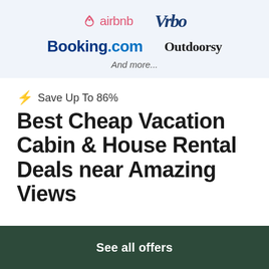[Figure (logo): Top banner with booking platform logos: Airbnb, Vrbo, Booking.com, Outdoorsy, and 'And more...' text on a light blue background]
⚡ Save Up To 86%
Best Cheap Vacation Cabin & House Rental Deals near Amazing Views
See all offers